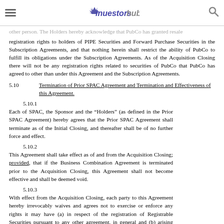investorshub
other person. The Holders hereby acknowledge that PubCo has granted resale registration rights to holders of PIPE Securities and Forward Purchase Securities in the Subscription Agreements, and that nothing herein shall restrict the ability of PubCo to fulfill its obligations under the Subscription Agreements. As of the Acquisition Closing there will not be any registration rights related to securities of PubCo that PubCo has agreed to other than under this Agreement and the Subscription Agreements.
5.10   Termination of Prior SPAC Agreement and Termination and Effectiveness of this Agreement.
5.10.1   Each of SPAC, the Sponsor and the “Holders” (as defined in the Prior SPAC Agreement) hereby agrees that the Prior SPAC Agreement shall terminate as of the Initial Closing, and thereafter shall be of no further force and effect.
5.10.2   This Agreement shall take effect as of and from the Acquisition Closing; provided, that if the Business Combination Agreement is terminated prior to the Acquisition Closing, this Agreement shall not become effective and shall be deemed void.
5.10.3   With effect from the Acquisition Closing, each party to this Agreement hereby irrevocably waives and agrees not to exercise or enforce any rights it may have (a) in respect of the registration of Registrable Securities pursuant to any other agreement, in general and (b) arising from or